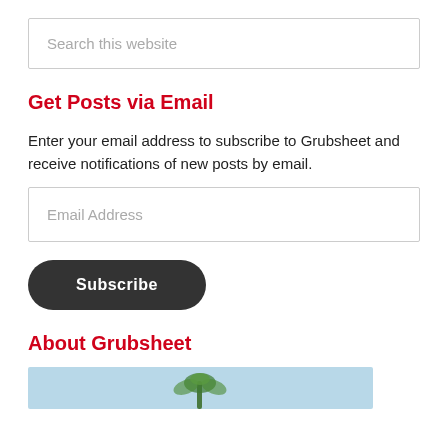Search this website
Get Posts via Email
Enter your email address to subscribe to Grubsheet and receive notifications of new posts by email.
Email Address
Subscribe
About Grubsheet
[Figure (photo): A light blue image strip showing the top of a palm tree at the bottom, partially visible.]